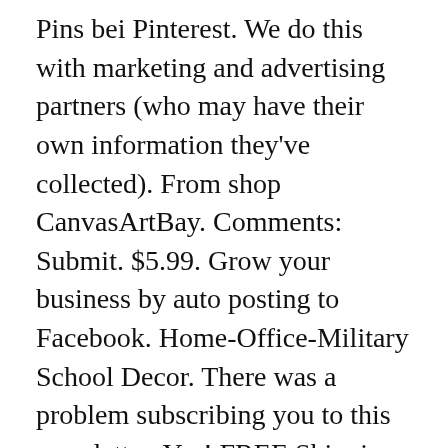Pins bei Pinterest. We do this with marketing and advertising partners (who may have their own information they've collected). From shop CanvasArtBay. Comments: Submit. $5.99. Grow your business by auto posting to Facebook. Home-Office-Military School Decor. There was a problem subscribing you to this newsletter. Yes! FREE Shipping on orders over $25 shipped by Amazon. 88. We've sent you an email to confirm your subscription. Choose from vintage, abstract, funny, and inspirational posters. $11.04. United States Air Force F22A-Fighter Jet Poster Print -10 x 8" Military Aircraft Wall Decor Image-Ready to Frame. 800-336-5225. Top subscription boxes – right to your door. © 1996-2020, Amazon.com, Inc.